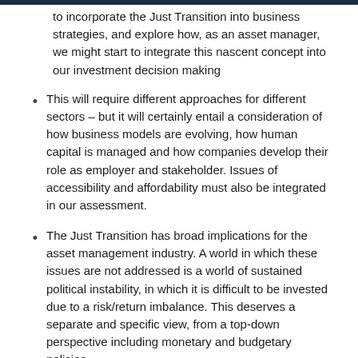to incorporate the Just Transition into business strategies, and explore how, as an asset manager, we might start to integrate this nascent concept into our investment decision making
This will require different approaches for different sectors – but it will certainly entail a consideration of how business models are evolving, how human capital is managed and how companies develop their role as employer and stakeholder. Issues of accessibility and affordability must also be integrated in our assessment.
The Just Transition has broad implications for the asset management industry. A world in which these issues are not addressed is a world of sustained political instability, in which it is difficult to be invested due to a risk/return imbalance. This deserves a separate and specific view, from a top-down perspective including monetary and budgetary policies